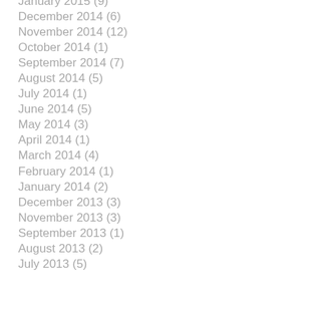January 2015 (9)
December 2014 (6)
November 2014 (12)
October 2014 (1)
September 2014 (7)
August 2014 (5)
July 2014 (1)
June 2014 (5)
May 2014 (3)
April 2014 (1)
March 2014 (4)
February 2014 (1)
January 2014 (2)
December 2013 (3)
November 2013 (3)
September 2013 (1)
August 2013 (2)
July 2013 (5)